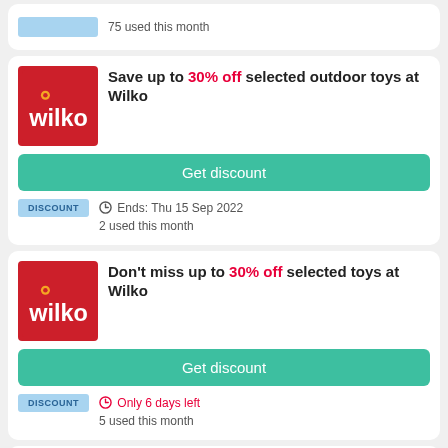75 used this month
Save up to 30% off selected outdoor toys at Wilko
Get discount
DISCOUNT
Ends: Thu 15 Sep 2022 | 2 used this month
Don't miss up to 30% off selected toys at Wilko
Get discount
DISCOUNT
Only 6 days left | 5 used this month
Don't miss up to 30% off selected BBQs at Wilko
Get discount